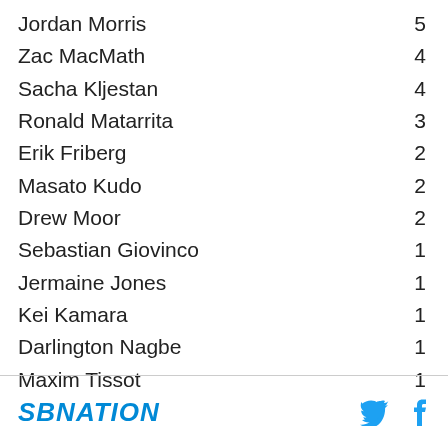Jordan Morris 5
Zac MacMath 4
Sacha Kljestan 4
Ronald Matarrita 3
Erik Friberg 2
Masato Kudo 2
Drew Moor 2
Sebastian Giovinco 1
Jermaine Jones 1
Kei Kamara 1
Darlington Nagbe 1
Maxim Tissot 1
SBNATION